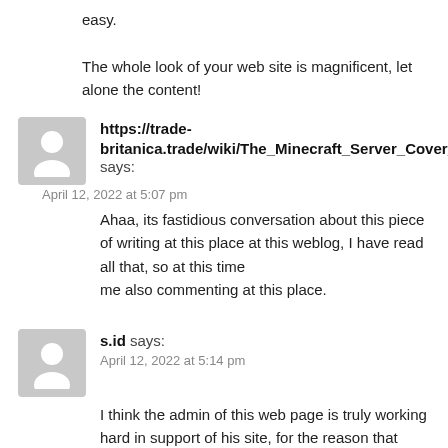easy.
The whole look of your web site is magnificent, let alone the content!
https://trade-britanica.trade/wiki/The_Minecraft_Server_Cover_Up says:
April 12, 2022 at 5:07 pm
Ahaa, its fastidious conversation about this piece of writing at this place at this weblog, I have read all that, so at this time
me also commenting at this place.
s.id says:
April 12, 2022 at 5:14 pm
I think the admin of this web page is truly working hard in support of his site, for the reason that here every data is quality based material.